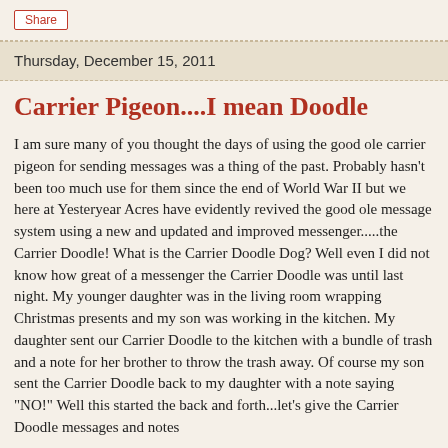Share
Thursday, December 15, 2011
Carrier Pigeon....I mean Doodle
I am sure many of you thought the days of using the good ole carrier pigeon for sending messages was a thing of the past.  Probably hasn't been too much use for them since the end of World War II but we here at Yesteryear Acres have evidently revived the good ole message system using a new and updated and improved messenger.....the Carrier Doodle!  What is the Carrier Doodle Dog? Well even I did not know how great of a messenger the Carrier Doodle was until last night. My younger daughter was in the living room wrapping Christmas presents and my son was working in the kitchen.  My daughter sent our Carrier Doodle to the kitchen with a bundle of trash and a note for her brother to throw the trash away. Of course my son sent the Carrier Doodle back to my daughter with a note saying "NO!"  Well this started the back and forth...let's give the Carrier Doodle messages and notes